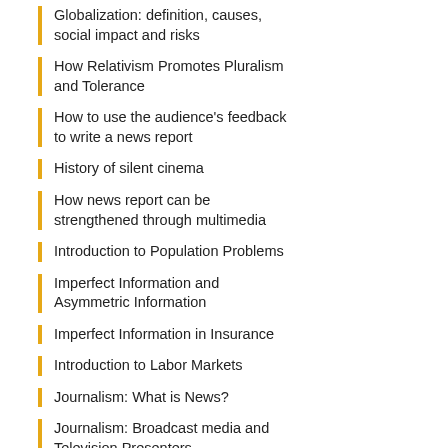Globalization: definition, causes, social impact and risks
How Relativism Promotes Pluralism and Tolerance
How to use the audience's feedback to write a news report
History of silent cinema
How news report can be strengthened through multimedia
Introduction to Population Problems
Imperfect Information and Asymmetric Information
Imperfect Information in Insurance
Introduction to Labor Markets
Journalism: What is News?
Journalism: Broadcast media and Television Presenters
Journalism: Sources of News